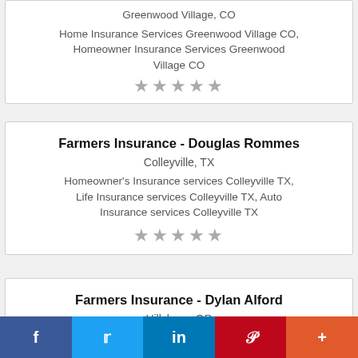Greenwood Village, CO
Home Insurance Services Greenwood Village CO, Homeowner Insurance Services Greenwood Village CO
★★★★★
Farmers Insurance - Douglas Rommes
Colleyville, TX
Homeowner's Insurance services Colleyville TX, Life Insurance services Colleyville TX, Auto Insurance services Colleyville TX
★★★★★
Farmers Insurance - Dylan Alford
Hillsboro, OR
Auto Insurance services Hillsboro OR, Home
f  t  in  P  +